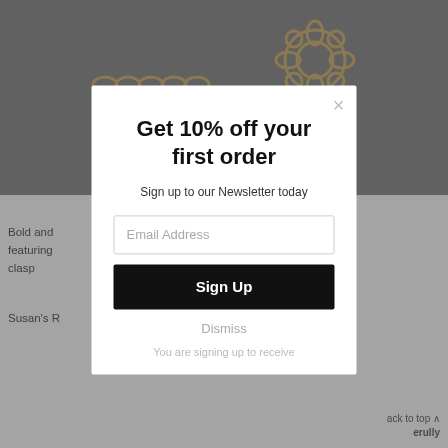[Figure (photo): Background page with gold jewelry items (chain bracelet and floral ring) on grey background, partially visible beneath modal overlay]
Bold and bracelet featuring a fold over clasp
Susan's R... ack to top ^ ...erully
Get 10% off your first order
Sign up to our Newsletter today
Email Address
Sign Up
Dismiss
You are signing up to receive